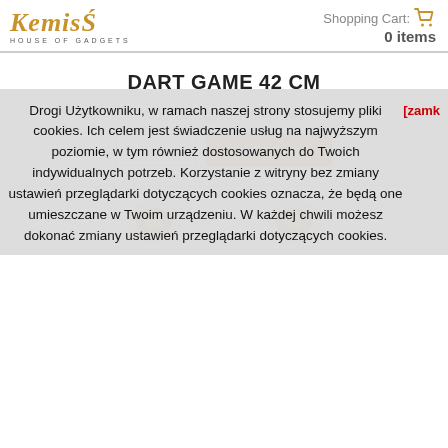[Figure (logo): Kemis House of Gadgets logo in gold/orange italic font]
Shopping Cart: 0 items
DART GAME 42 CM
Must be logged in for prices
Add to cart
[Figure (photo): Dart game product photo showing white dart boards with decorative elements]
Drogi Użytkowniku, w ramach naszej strony stosujemy pliki cookies. Ich celem jest świadczenie usług na najwyższym poziomie, w tym również dostosowanych do Twoich indywidualnych potrzeb. Korzystanie z witryny bez zmiany ustawień przeglądarki dotyczących cookies oznacza, że będą one umieszczane w Twoim urządzeniu. W każdej chwili możesz dokonać zmiany ustawień przeglądarki dotyczących cookies.